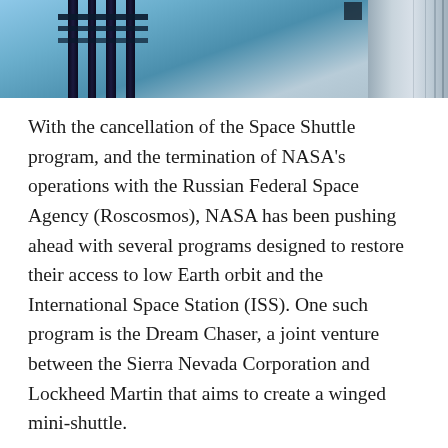[Figure (photo): Photograph of a space station or spacecraft component against a blue Earth background, showing dark solar panels and a cylindrical module on the right side.]
With the cancellation of the Space Shuttle program, and the termination of NASA's operations with the Russian Federal Space Agency (Roscosmos), NASA has been pushing ahead with several programs designed to restore their access to low Earth orbit and the International Space Station (ISS). One such program is the Dream Chaser, a joint venture between the Sierra Nevada Corporation and Lockheed Martin that aims to create a winged mini-shuttle.
Earlier this month, the program reached an important milestone when the composite airframe structure was unveiled at a joint press conference by Sierra Nevada Corporation and Lockheed Martin at the Fort Worth facility. The assembly of